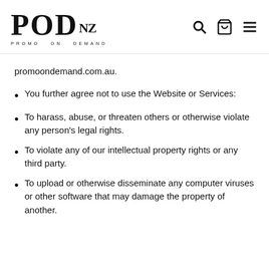POD NZ — PROMO ON DEMAND — header with search, cart, and menu icons
promoondemand.com.au.
You further agree not to use the Website or Services:
To harass, abuse, or threaten others or otherwise violate any person's legal rights.
To violate any of our intellectual property rights or any third party.
To upload or otherwise disseminate any computer viruses or other software that may damage the property of another.